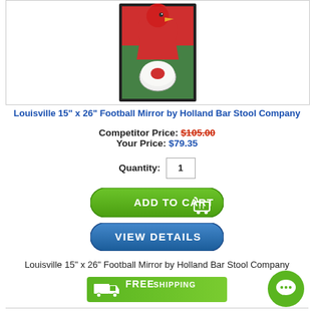[Figure (photo): Louisville Cardinals 15" x 26" Football Mirror product image showing a cardinal bird logo with football imagery on red and green background]
Louisville 15" x 26" Football Mirror by Holland Bar Stool Company
Competitor Price: $105.00
Your Price: $79.35
Quantity: 1
[Figure (other): Add to Cart button with shopping cart icon, green gradient background]
[Figure (other): View Details button, blue gradient background]
Louisville 15" x 26" Football Mirror by Holland Bar Stool Company
[Figure (infographic): Free Shipping banner with truck icon on green background]
[Figure (other): Green chat bubble icon with chat symbol]